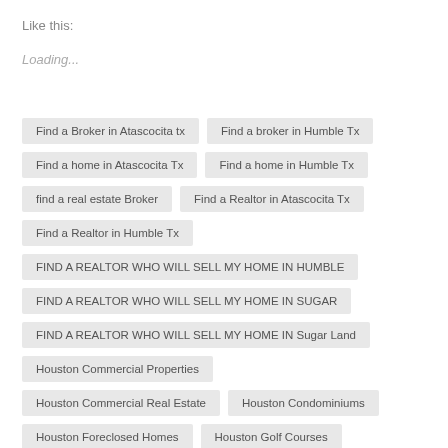Like this:
Loading...
Find a Broker in Atascocita tx
Find a broker in Humble Tx
Find a home in Atascocita Tx
Find a home in Humble Tx
find a real estate Broker
Find a Realtor in Atascocita Tx
Find a Realtor in Humble Tx
FIND A REALTOR WHO WILL SELL MY HOME IN HUMBLE
FIND A REALTOR WHO WILL SELL MY HOME IN SUGAR
FIND A REALTOR WHO WILL SELL MY HOME IN Sugar Land
Houston Commercial Properties
Houston Commercial Real Estate
Houston Condominiums
Houston Foreclosed Homes
Houston Golf Courses